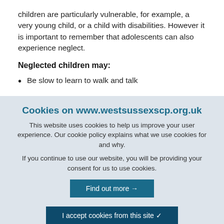children are particularly vulnerable, for example, a very young child, or a child with disabilities. However it is important to remember that adolescents can also experience neglect.
Neglected children may:
Be slow to learn to walk and talk
Cookies on www.westsussexscp.org.uk
This website uses cookies to help us improve your user experience. Our cookie policy explains what we use cookies for and why.
If you continue to use our website, you will be providing your consent for us to use cookies.
Find out more →
I accept cookies from this site ✓